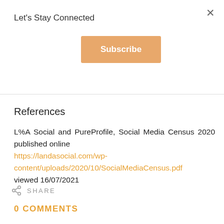Let's Stay Connected
[Figure (other): Subscribe button with orange/tan background]
References
L%A Social and PureProfile, Social Media Census 2020 published online https://landasocial.com/wp-content/uploads/2020/10/SocialMediaCensus.pdf viewed 16/07/2021
SHARE
0 COMMENTS